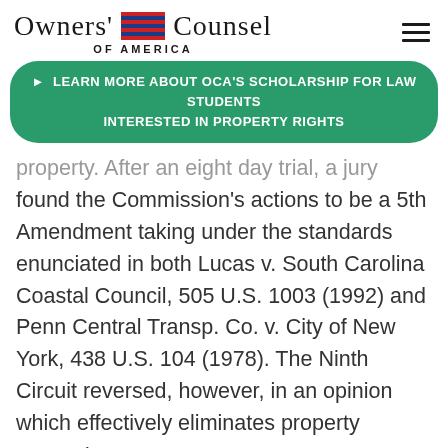Owners' Counsel of America
► LEARN MORE ABOUT OCA'S SCHOLARSHIP FOR LAW STUDENTS INTERESTED IN PROPERTY RIGHTS
property. After an eight day trial, a jury found the Commission's actions to be a 5th Amendment taking under the standards enunciated in both Lucas v. South Carolina Coastal Council, 505 U.S. 1003 (1992) and Penn Central Transp. Co. v. City of New York, 438 U.S. 104 (1978). The Ninth Circuit reversed, however, in an opinion which effectively eliminates property owners'